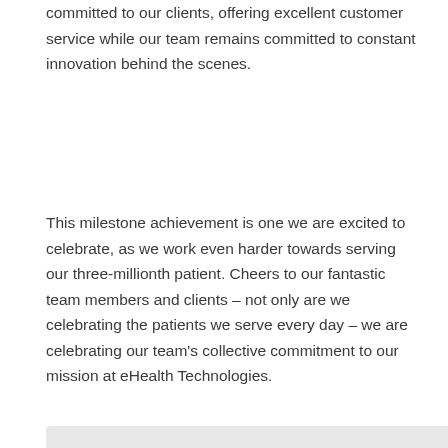committed to our clients, offering excellent customer service while our team remains committed to constant innovation behind the scenes.
This milestone achievement is one we are excited to celebrate, as we work even harder towards serving our three-millionth patient. Cheers to our fantastic team members and clients – not only are we celebrating the patients we serve every day – we are celebrating our team's collective commitment to our mission at eHealth Technologies.